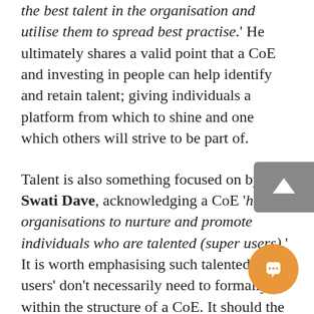…'where you manage to identify them in the best talent in the organisation and utilise them to spread best practise.' He ultimately shares a valid point that a CoE and investing in people can help identify and retain talent; giving individuals a platform from which to shine and one which others will strive to be part of.
Talent is also something focused on by Swati Dave, acknowledging a CoE 'helps organisations to nurture and promote individuals who are talented (super users).' It is worth emphasising such talented 'super users' don't necessarily need to formally sit within the structure of a CoE. It should the aim to the CoE to elevate and …